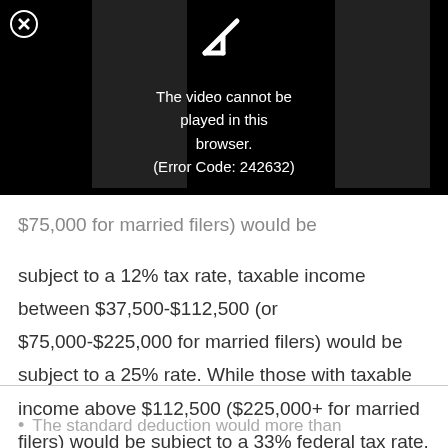[Figure (screenshot): Video player error overlay showing 'The video cannot be played in this browser. (Error Code: 242632)' with a broken video icon and close button on a black background.]
$75,000 for married filers) would be subject to a 12% tax rate, taxable income between $37,500-$112,500 (or $75,000-$225,000 for married filers) would be subject to a 25% rate. While those with taxable income above $112,500 ($225,000+ for married filers) would be subject to a 33% federal tax rate.
The standard deduction would more than